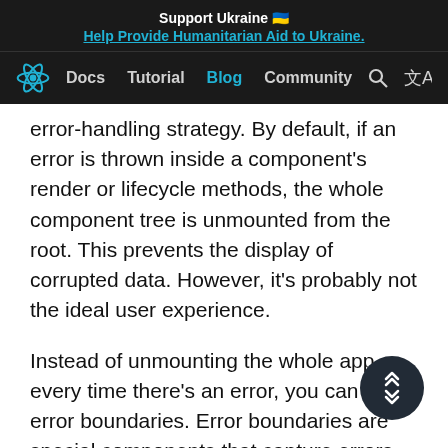Support Ukraine 🇺🇦
Help Provide Humanitarian Aid to Ukraine.
Docs  Tutorial  Blog  Community
error-handling strategy. By default, if an error is thrown inside a component's render or lifecycle methods, the whole component tree is unmounted from the root. This prevents the display of corrupted data. However, it's probably not the ideal user experience.
Instead of unmounting the whole app every time there's an error, you can use error boundaries. Error boundaries are special components that capture errors inside their subtree and display a fallback UI in its place. Think of error boundaries like try-catch statements, but for components.